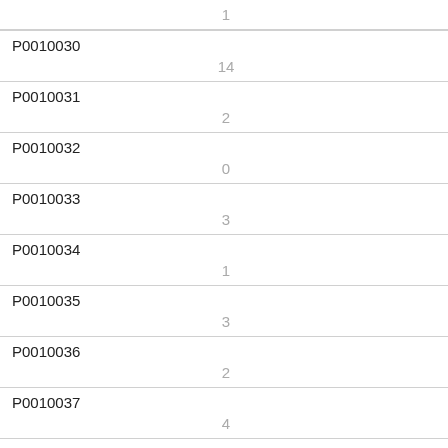| ID | Value |
| --- | --- |
|  | 1 |
| P0010030 | 14 |
| P0010031 | 2 |
| P0010032 | 0 |
| P0010033 | 3 |
| P0010034 | 1 |
| P0010035 | 3 |
| P0010036 | 2 |
| P0010037 | 4 |
| P0010038 | 2 |
| P0010039 |  |